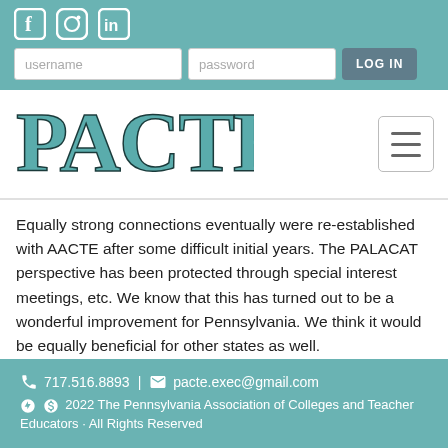[Figure (screenshot): Social media icons: Facebook, Instagram, LinkedIn on teal header bar]
[Figure (screenshot): Login form with username and password fields and LOG IN button on teal header bar]
[Figure (logo): PACTE logo in teal serif font]
[Figure (other): Hamburger menu icon (three horizontal lines) in rounded rectangle]
Equally strong connections eventually were re-established with AACTE after some difficult initial years. The PALACAT perspective has been protected through special interest meetings, etc. We know that this has turned out to be a wonderful improvement for Pennsylvania. We think it would be equally beneficial for other states as well.
717.516.8893 | pacte.exec@gmail.com © 2022 The Pennsylvania Association of Colleges and Teacher Educators · All Rights Reserved